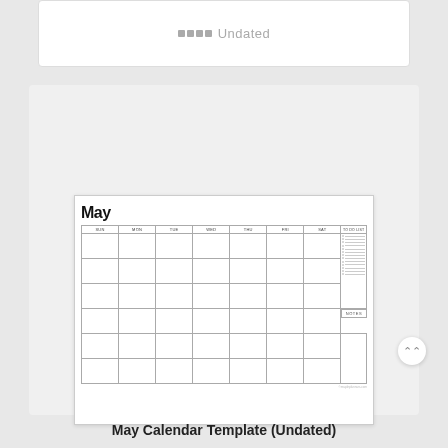[Figure (other): Undated label with grid icon in a white card at the top]
[Figure (illustration): May Calendar Template (Undated) preview showing a monthly calendar grid with days SUN through SAT and a TO DO LIST column on the right, plus a NOTES grid section. The calendar title is 'May' in bold.]
May Calendar Template (Undated)